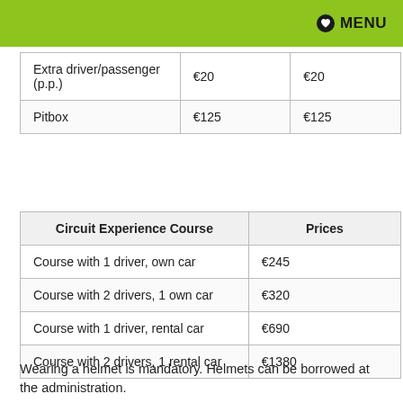MENU
|  |  |  |
| --- | --- | --- |
| Extra driver/passenger (p.p.) | €20 | €20 |
| Pitbox | €125 | €125 |
| Circuit Experience Course | Prices |  |
| --- | --- | --- |
| Course with 1 driver, own car | €245 |  |
| Course with 2 drivers, 1 own car | €320 |  |
| Course with 1 driver, rental car | €690 |  |
| Course with 2 drivers, 1 rental car | €1380 |  |
Wearing a helmet is mandatory. Helmets can be borrowed at the administration.